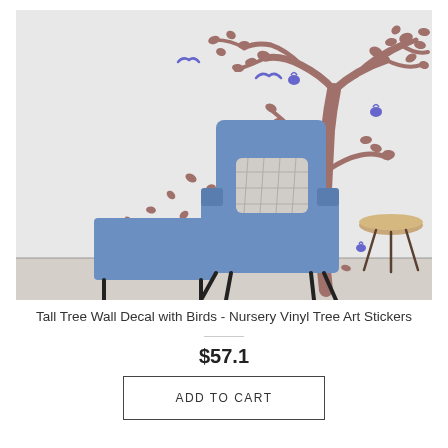[Figure (photo): Room scene showing a blue lounge chair with ottoman and a decorative tree wall decal with birds and falling leaves on a light grey wall. A small wooden side table is visible to the right.]
Tall Tree Wall Decal with Birds - Nursery Vinyl Tree Art Stickers
$57.1
ADD TO CART